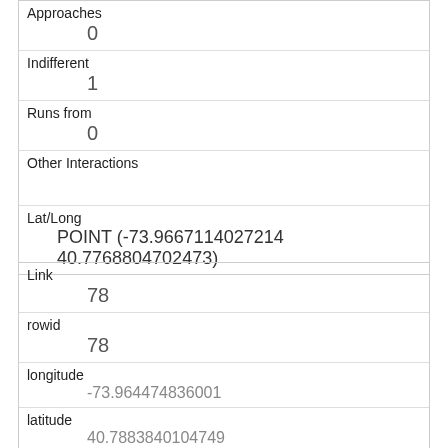| Approaches | 0 |
| Indifferent | 1 |
| Runs from | 0 |
| Other Interactions |  |
| Lat/Long | POINT (-73.9667114027214 40.7768804702473) |
| Link | 78 |
| rowid | 78 |
| longitude | -73.964474836001 |
| latitude | 40.7883840104749 |
| Unique Squirrel ID | 28C-PM-1006-01 |